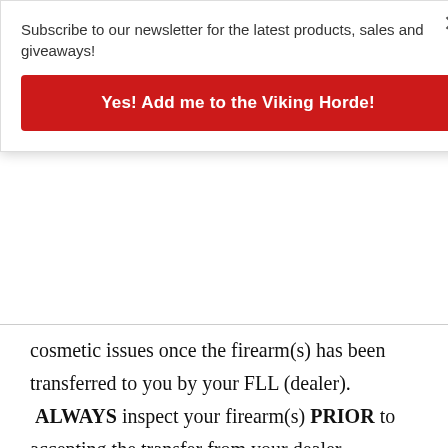Subscribe to our newsletter for the latest products, sales and giveaways!
Yes! Add me to the Viking Horde!
cosmetic issues once the firearm(s) has been transferred to you by your FLL (dealer). ALWAYS inspect your firearm(s) PRIOR to accepting the transfer from your dealer.
License to use website
Unless otherwise stated, Valkyrie Combat LLC and/or its licensors own the intellectual property